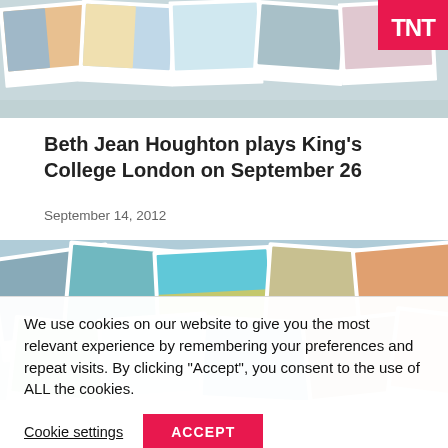[Figure (photo): Collage of polaroid-style travel photos with TNT magazine logo in top right corner]
Beth Jean Houghton plays King's College London on September 26
September 14, 2012
[Figure (photo): Collage of polaroid-style travel and landscape photos]
We use cookies on our website to give you the most relevant experience by remembering your preferences and repeat visits. By clicking “Accept”, you consent to the use of ALL the cookies.
Cookie settings
ACCEPT